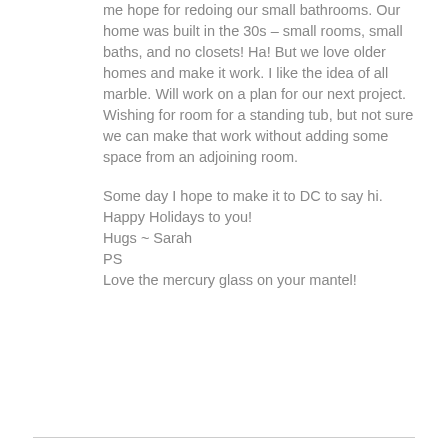me hope for redoing our small bathrooms. Our home was built in the 30s – small rooms, small baths, and no closets! Ha! But we love older homes and make it work. I like the idea of all marble. Will work on a plan for our next project. Wishing for room for a standing tub, but not sure we can make that work without adding some space from an adjoining room.

Some day I hope to make it to DC to say hi. Happy Holidays to you!
Hugs ~ Sarah
PS
Love the mercury glass on your mantel!